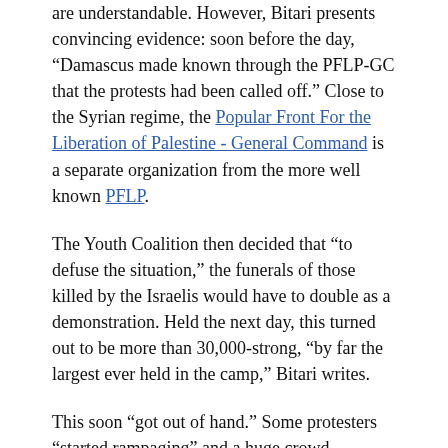are understandable. However, Bitari presents convincing evidence: soon before the day, “Damascus made known through the PFLP-GC that the protests had been called off.” Close to the Syrian regime, the Popular Front For the Liberation of Palestine - General Command is a separate organization from the more well known PFLP.
The Youth Coalition then decided that “to defuse the situation,” the funerals of those killed by the Israelis would have to double as a demonstration. Held the next day, this turned out to be more than 30,000-strong, “by far the largest ever held in the camp,” Bitari writes.
This soon “got out of hand.” Some protesters “started rampaging” and a huge crowd surrounded the office of the PFLP-GC. One of the guards fired at the unarmed crowd and killed a 14-year-old boy named Rami Siyam, and other PLFP-GC guards began shooting from the roof.